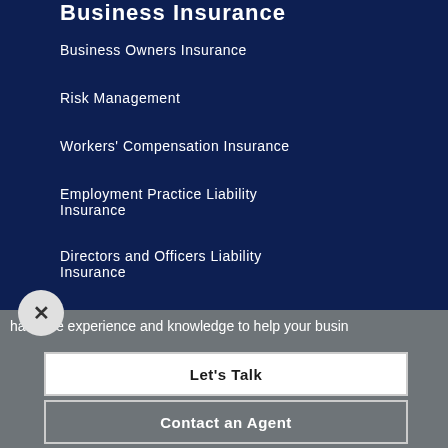Business Insurance
Business Owners Insurance
Risk Management
Workers' Compensation Insurance
Employment Practice Liability Insurance
Directors and Officers Liability Insurance
have the experience and knowledge to help your busin
Let's Talk
Contact an Agent